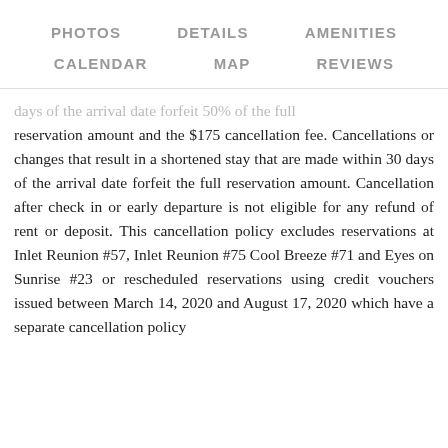PHOTOS   DETAILS   AMENITIES   CALENDAR   MAP   REVIEWS
days of the arrival date forfeit 50% of the full reservation amount and the $175 cancellation fee. Cancellations or changes that result in a shortened stay that are made within 30 days of the arrival date forfeit the full reservation amount. Cancellation after check in or early departure is not eligible for any refund of rent or deposit. This cancellation policy excludes reservations at Inlet Reunion #57, Inlet Reunion #75 Cool Breeze #71 and Eyes on Sunrise #23 or rescheduled reservations using credit vouchers issued between March 14, 2020 and August 17, 2020 which have a separate cancellation policy